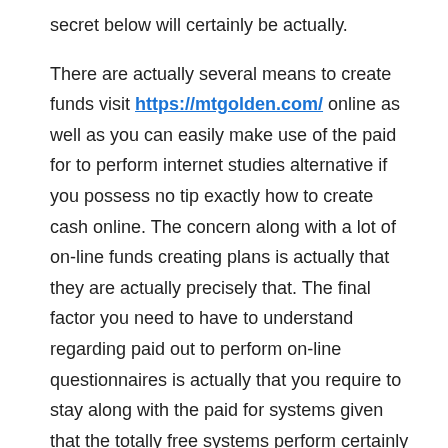secret below will certainly be actually.
There are actually several means to create funds visit https://mtgolden.com/ online as well as you can easily make use of the paid for to perform internet studies alternative if you possess no tip exactly how to create cash online. The concern along with a lot of on-line funds creating plans is actually that they are actually precisely that. The final factor you need to have to understand regarding paid out to perform on-line questionnaires is actually that you require to stay along with the paid for systems given that the totally free systems perform certainly not pay for a lot if everything at all when you take their studies. Creating loan online is actually recording the focus of numerous. Along with the economic condition sagging and also work unemployments enhancing a lot of are actually appearing at means to make an on the web earnings.
All you must carry out is actually locate a really good paid out